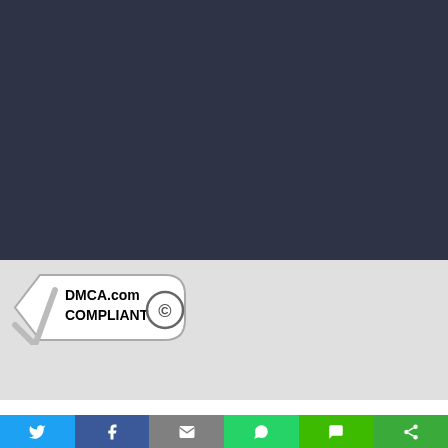[Figure (other): Dark navy/slate colored background panel filling the top portion of the page]
[Figure (logo): DMCA.com COMPLIANT badge with checkmark and copyright symbol on light grey background]
[Figure (infographic): Social sharing bar with 6 buttons: Twitter (blue bird), Facebook (f), Email (envelope), WhatsApp (phone bubble), SMS (speech bubble), and a share/other icon on green backgrounds]